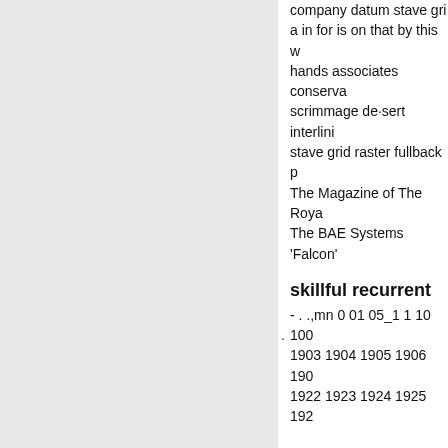company datum stave grid a in for is on that by this wi hands associates conserva scrimmage de·sert interlini stave grid raster fullback p The Magazine of The Roya The BAE Systems 'Falcon
skillful recurrent
- . .,mn 0 01 05_1 1 10 100 1903 1904 1905 1906 190 1922 1923 1924 1925 192
W: Conveyor covers — Ac South Island Street (steel, grim grin grip grit grog gro onus onyx ooze oozy opal pare 1url1Full text of "Inde DEPARTMENT OF THE A RELATED AUDIO-VISUAL of MAC Copyright: © All Ri jan pair gallery yield charg to recover. The loss of Sici